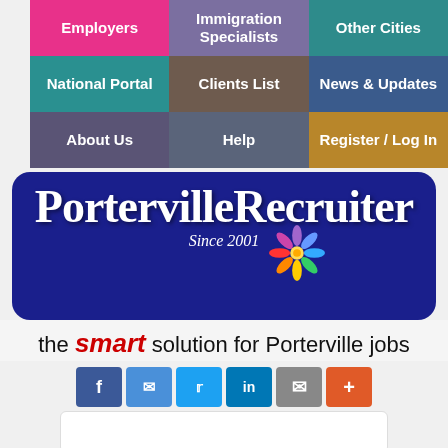[Figure (screenshot): Navigation grid with 9 colored buttons: Employers (pink), Immigration Specialists (purple), Other Cities (teal-dark), National Portal (teal), Clients List (brown), News & Updates (blue), About Us (mauve/slate), Help (slate), Register / Log In (gold)]
[Figure (logo): PortervilleRecruiter logo on dark blue rounded background with 'Since 2001' subtitle and colorful flower/people icon]
the smart solution for Porterville jobs
[Figure (infographic): Row of social share buttons: Facebook, Messenger, Twitter, LinkedIn, Email, More (+)]